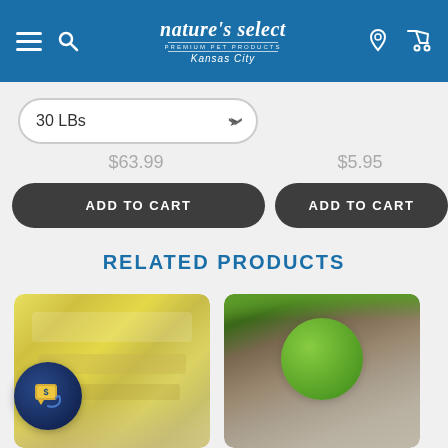nature's select — Premium Pet Products — Kansas City
30 LBs
$63.99
$5.95
ADD TO CART
ADD TO CART
RELATED PRODUCTS
[Figure (photo): Blurred yellow product package for a pet food item]
[Figure (photo): Blurred green/brown product package for a pet food item with green circular logo]